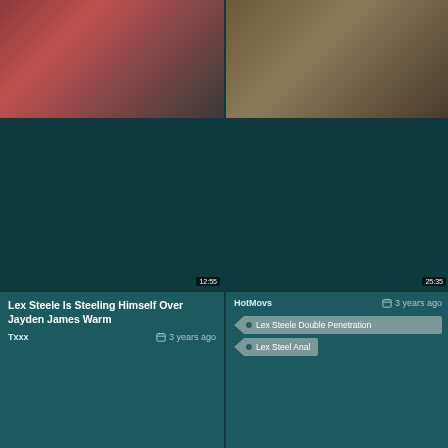[Figure (screenshot): Video thumbnail - top left, dark scene with red clothing]
Lex Steele Is Steeling Himself Over Jayden James Warm
Txxx   3 years ago
[Figure (screenshot): Video thumbnail - top right, person in patterned top]
HotMovs   3 years ago
Lex Steele Double Penetration
Lex Steel Anal
[Figure (screenshot): Video thumbnail - bottom left, two people on floor]
Txxx   2 years ago
[Figure (screenshot): Video thumbnail - bottom right, person in uniform by orange door]
Txxx   3 years ago